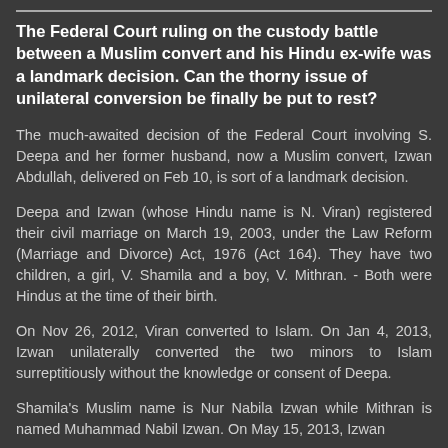The Federal Court ruling on the custody battle between a Muslim convert and his Hindu ex-wife was a landmark decision. Can the thorny issue of unilateral conversion be finally be put to rest?
The much-awaited decision of the Federal Court involving S. Deepa and her former husband, now a Muslim convert, Izwan Abdullah, delivered on Feb 10, is sort of a landmark decision.
Deepa and Izwan (whose Hindu name is N. Viran) registered their civil marriage on March 19, 2003, under the Law Reform (Marriage and Divorce) Act, 1976 (Act 164). They have two children, a girl, V. Shamila and a boy, V. Mithran. - Both were Hindus at the time of their birth.
On Nov 26, 2012, Viran converted to Islam. On Jan 4, 2013, Izwan unilaterally converted the two minors to Islam surreptitiously without the knowledge or consent of Deepa.
Shamila's Muslim name is Nur Nabila Izwan while Mithran is named Muhammad Nabil Izwan. On May 15, 2013, Izwan